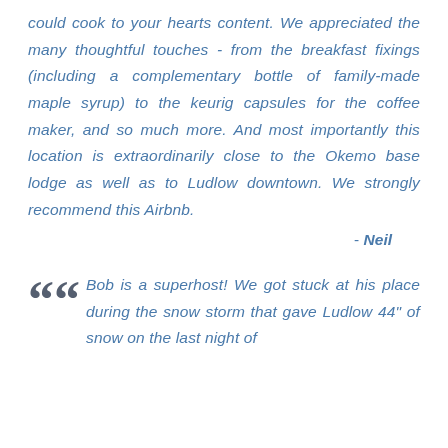could cook to your hearts content. We appreciated the many thoughtful touches - from the breakfast fixings (including a complementary bottle of family-made maple syrup) to the keurig capsules for the coffee maker, and so much more. And most importantly this location is extraordinarily close to the Okemo base lodge as well as to Ludlow downtown. We strongly recommend this Airbnb.
- Neil
Bob is a superhost! We got stuck at his place during the snow storm that gave Ludlow 44" of snow on the last night of